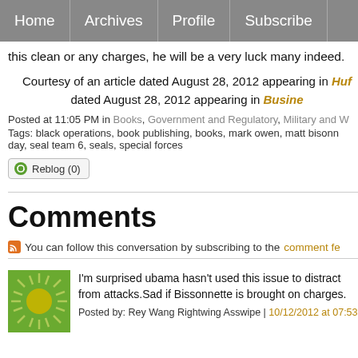Home | Archives | Profile | Subscribe
this clean or any charges, he will be a very luck many indeed.
Courtesy of an article dated August 28, 2012 appearing in Huf dated August 28, 2012 appearing in Busine
Posted at 11:05 PM in Books, Government and Regulatory, Military and W
Tags: black operations, book publishing, books, mark owen, matt bisonn day, seal team 6, seals, special forces
Reblog (0)
Comments
You can follow this conversation by subscribing to the comment fe
I'm surprised ubama hasn't used this issue to distract from attacks.Sad if Bissonnette is brought on charges.
Posted by: Rey Wang Rightwing Asswipe | 10/12/2012 at 07:53